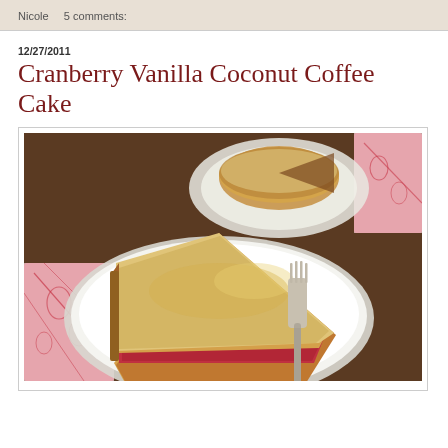Nicole    5 comments:
12/27/2011
Cranberry Vanilla Coconut Coffee Cake
[Figure (photo): A slice of cranberry vanilla coconut coffee cake on a white plate with a fork, accompanied by a red and white toile napkin. In the background, the full cake on a plate is visible.]